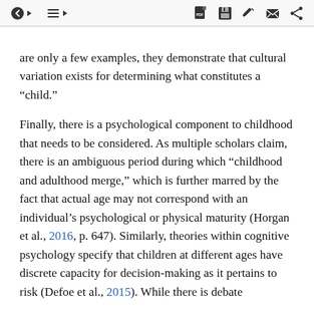toolbar icons: back, list, pdf, save, edit, mail, share
are only a few examples, they demonstrate that cultural variation exists for determining what constitutes a “child.”
Finally, there is a psychological component to childhood that needs to be considered. As multiple scholars claim, there is an ambiguous period during which “childhood and adulthood merge,” which is further marred by the fact that actual age may not correspond with an individual’s psychological or physical maturity (Horgan et al., 2016, p. 647). Similarly, theories within cognitive psychology specify that children at different ages have discrete capacity for decision-making as it pertains to risk (Defoe et al., 2015). While there is debate